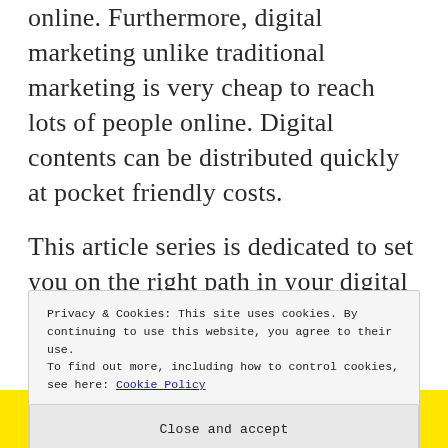online. Furthermore, digital marketing unlike traditional marketing is very cheap to reach lots of people online. Digital contents can be distributed quickly at pocket friendly costs.
This article series is dedicated to set you on the right path in your digital marketing by offering you top digital marketing tips that will help you achieve success in digital marketing.
Privacy & Cookies: This site uses cookies. By continuing to use this website, you agree to their use.
To find out more, including how to control cookies, see here: Cookie Policy
Close and accept
[Figure (other): Yellow banner at bottom with 'BRAND' text and circular graphic elements]